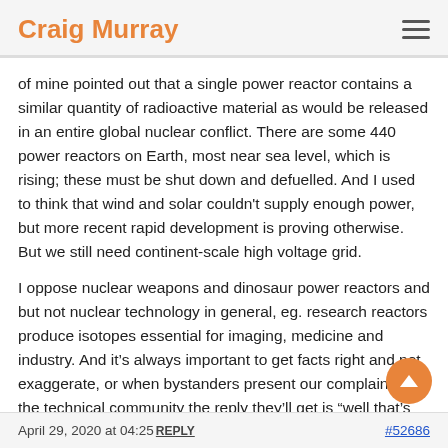Craig Murray
of mine pointed out that a single power reactor contains a similar quantity of radioactive material as would be released in an entire global nuclear conflict. There are some 440 power reactors on Earth, most near sea level, which is rising; these must be shut down and defuelled. And I used to think that wind and solar couldn't supply enough power, but more recent rapid development is proving otherwise. But we still need continent-scale high voltage grid.
I oppose nuclear weapons and dinosaur power reactors and but not nuclear technology in general, eg. research reactors produce isotopes essential for imaging, medicine and industry. And it's always important to get facts right and not exaggerate, or when bystanders present our complaints to the technical community the reply they'll get is "well that's just bollox, these people must be crazy".
April 29, 2020 at 04:25 REPLY | #52686